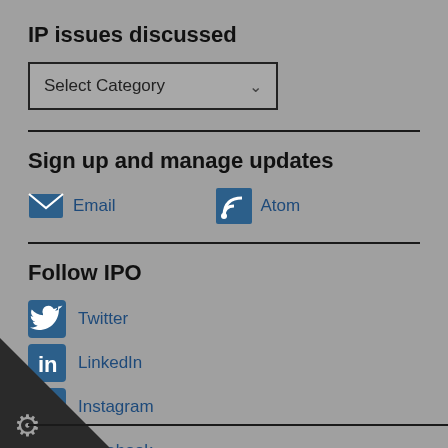IP issues discussed
[Figure (screenshot): Dropdown selector box labeled 'Select Category' with a chevron arrow on the right]
Sign up and manage updates
Email
Atom
Follow IPO
Twitter
LinkedIn
Instagram
Facebook
YouTube